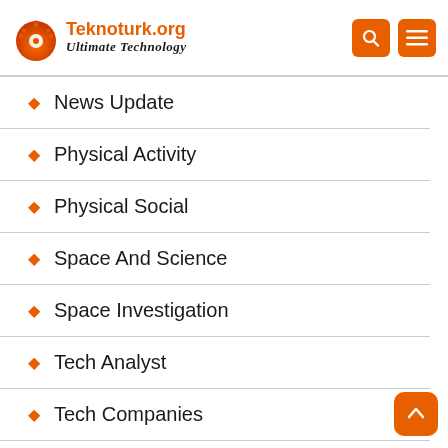Teknoturk.org Ultimate Technology
News Update
Physical Activity
Physical Social
Space And Science
Space Investigation
Tech Analyst
Tech Companies
Tech DIY